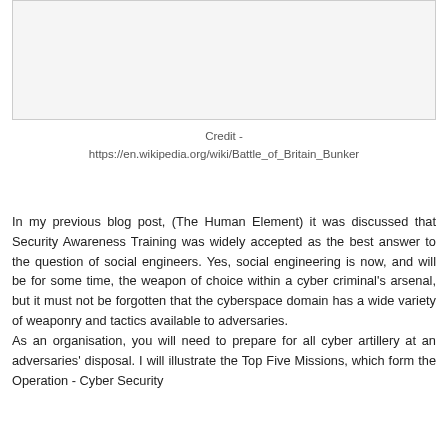[Figure (photo): Blank or white image area with a border, representing a photo placeholder for a Battle of Britain Bunker image.]
Credit -
https://en.wikipedia.org/wiki/Battle_of_Britain_Bunker
In my previous blog post, (The Human Element) it was discussed that Security Awareness Training was widely accepted as the best answer to the question of social engineers. Yes, social engineering is now, and will be for some time, the weapon of choice within a cyber criminal's arsenal, but it must not be forgotten that the cyberspace domain has a wide variety of weaponry and tactics available to adversaries.
As an organisation, you will need to prepare for all cyber artillery at an adversaries' disposal. I will illustrate the Top Five Missions, which form the Operation - Cyber Security